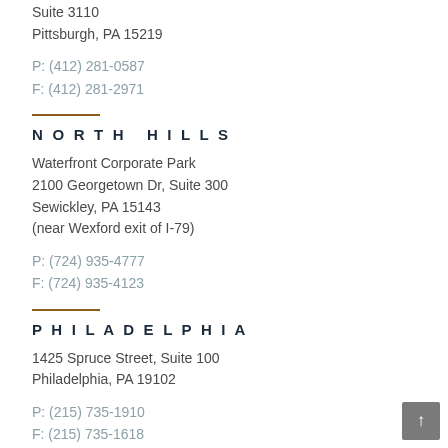Suite 3110
Pittsburgh, PA 15219
P: (412) 281-0587
F: (412) 281-2971
NORTH HILLS
Waterfront Corporate Park
2100 Georgetown Dr, Suite 300
Sewickley, PA 15143
(near Wexford exit of I-79)
P: (724) 935-4777
F: (724) 935-4123
PHILADELPHIA
1425 Spruce Street, Suite 100
Philadelphia, PA 19102
P: (215) 735-1910
F: (215) 735-1618